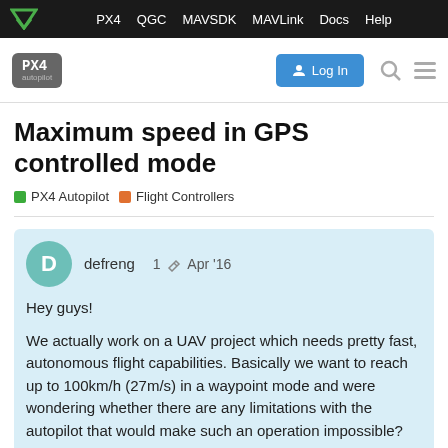PX4  QGC  MAVSDK  MAVLink  Docs  Help
[Figure (logo): PX4 Autopilot logo with Log In button and search/menu icons]
Maximum speed in GPS controlled mode
PX4 Autopilot  Flight Controllers
defreng  1  Apr '16

Hey guys!

We actually work on a UAV project which needs pretty fast, autonomous flight capabilities. Basically we want to reach up to 100km/h (27m/s) in a waypoint mode and were wondering whether there are any limitations with the autopilot that would make such an operation impossible?

I would be glad to receive your feedback o
1 / 9